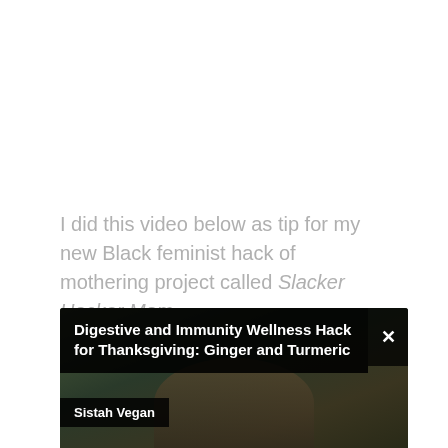I did this video below as tip for my new Black feminist hack of mothering project called Slacker Hacker Mom.
[Figure (screenshot): YouTube video thumbnail/overlay showing a video titled 'Digestive and Immunity Wellness Hack for Thanksgiving: Ginger and Turmeric' by channel 'Sistah Vegan'. Shows a person outdoors holding objects, with black overlay bars for the title and channel name, an X close button, and a 'DR. A. BREEZE HARPER' watermark.]